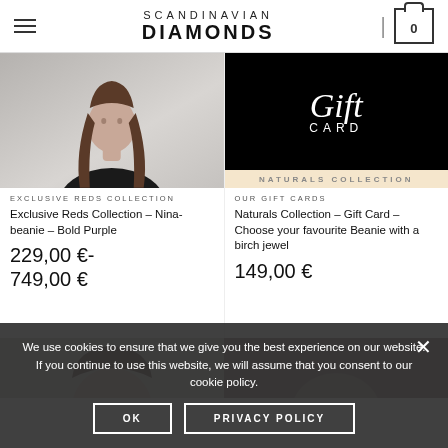SCANDINAVIAN DIAMONDS
[Figure (photo): Woman with long brown hair wearing black top - product photo for beanie]
[Figure (photo): Gift Card promotional image on black background with cream strip at bottom]
EXCLUSIVE REDS COLLECTION
Exclusive Reds Collection – Nina-beanie – Bold Purple
229,00 € - 749,00 €
OUR GIFT CARDS
Naturals Collection – Gift Card – Choose your favourite Beanie with a birch jewel
149,00 €
We use cookies to ensure that we give you the best experience on our website. If you continue to use this website, we will assume that you consent to our cookie policy.
OK
PRIVACY POLICY